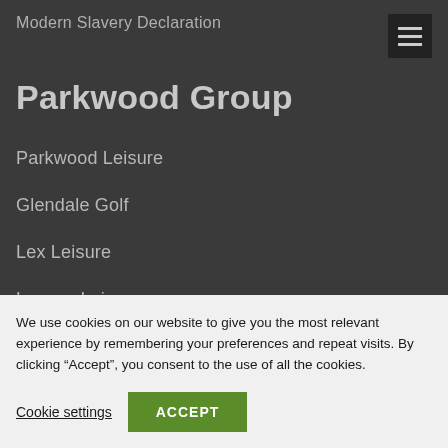Modern Slavery Declaration
Parkwood Group
Parkwood Leisure
Glendale Golf
Lex Leisure
Legacy Leisure
We use cookies on our website to give you the most relevant experience by remembering your preferences and repeat visits. By clicking “Accept”, you consent to the use of all the cookies.
Cookie settings  ACCEPT